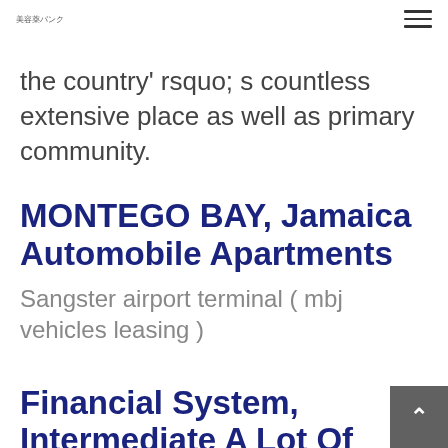美容薬バンク
the country' rsquo; s countless extensive place as well as primary community.
MONTEGO BAY, Jamaica Automobile Apartments
Sangster airport terminal ( mbj vehicles leasing )
Financial System, Intermediate A Lot Of